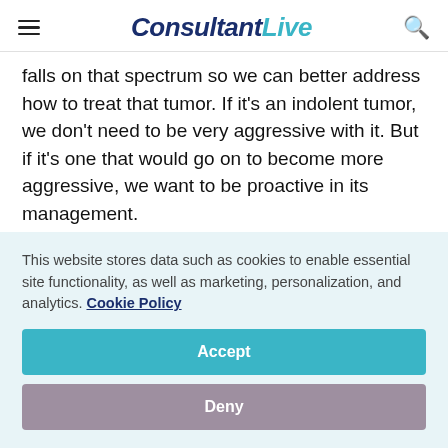ConsultantLive
falls on that spectrum so we can better address how to treat that tumor. If it’s an indolent tumor, we don’t need to be very aggressive with it. But if it’s one that would go on to become more aggressive, we want to be proactive in its management.
Transcript Edited for Clarity
This website stores data such as cookies to enable essential site functionality, as well as marketing, personalization, and analytics. Cookie Policy
Accept
Deny